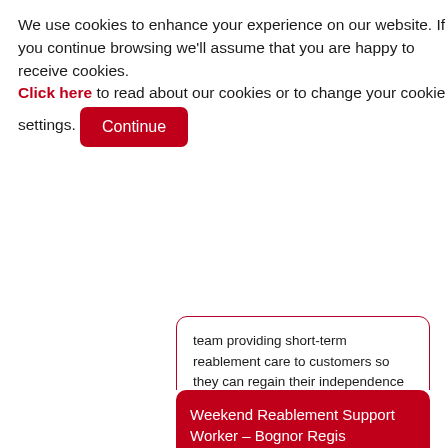We use cookies to enhance your experience on our website. If you continue browsing we'll assume that you are happy to receive cookies. Click here to read about our cookies or to change your cookie settings. [Continue]
team providing short-term reablement care to customers so they can regain their independence while remaining in their own homes.
Take the next step in your career and become a Reablement Support Worker with the ECL team.
Weekend Reablement Support Worker – Bognor Regis
Location: West Sussex Regulated - Bognor Regis and surrounding areas